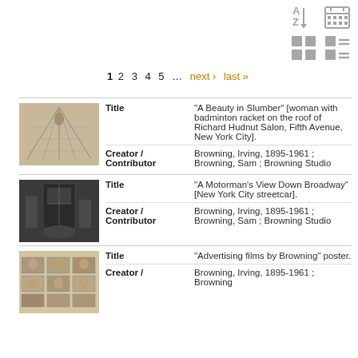[Figure (screenshot): Sort A-Z icon]
[Figure (screenshot): Calendar/grid view icon]
[Figure (screenshot): Thumbnail grid view icon]
[Figure (screenshot): List view icon]
1 2 3 4 5 … next › last »
[Figure (photo): Photograph of a person with badminton racket on rooftop]
Title: "A Beauty in Slumber" [woman with badminton racket on the roof of Richard Hudnut Salon, Fifth Avenue, New York City].
Creator / Contributor: Browning, Irving, 1895-1961 ; Browning, Sam ; Browning Studio
[Figure (photo): Photograph of a motorman's view down Broadway, New York City streetcar]
Title: "A Motorman's View Down Broadway" [New York City streetcar].
Creator / Contributor: Browning, Irving, 1895-1961 ; Browning, Sam ; Browning Studio
[Figure (photo): Advertising films by Browning poster with portrait photos]
Title: "Advertising films by Browning" poster.
Creator / Browning, Irving, 1895- ; Browning